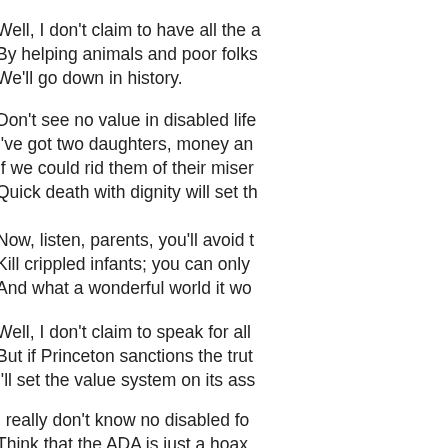Well, I don't claim to have all the a
By helping animals and poor folks
We'll go down in history.
Don't see no value in disabled life
I've got two daughters, money an
If we could rid them of their miser
Quick death with dignity will set th
Now, listen, parents, you'll avoid t
Kill crippled infants; you can only
And what a wonderful world it wo
Well, I don't claim to speak for all
But if Princeton sanctions the trut
I'll set the value system on its ass
I really don't know no disabled fo
Think that the ADA is just a hoax.
Don't know no blind nor deaf nor
No brain-dead retards and no spi
But I do know they're all better off
And I know that if we use our hea